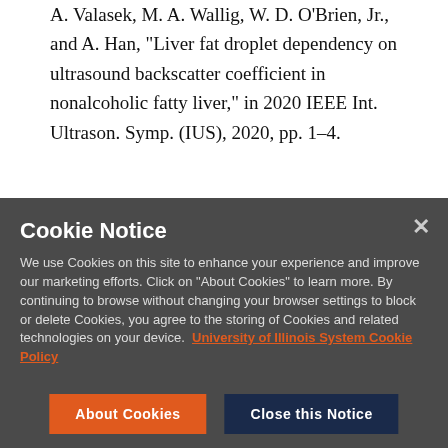A. Valasek, M. A. Wallig, W. D. O'Brien, Jr., and A. Han, "Liver fat droplet dependency on ultrasound backscatter coefficient in nonalcoholic fatty liver," in 2020 IEEE Int. Ultrason. Symp. (IUS), 2020, pp. 1–4.
Cookie Notice
We use Cookies on this site to enhance your experience and improve our marketing efforts. Click on "About Cookies" to learn more. By continuing to browse without changing your browser settings to block or delete Cookies, you agree to the storing of Cookies and related technologies on your device. University of Illinois System Cookie Policy
About Cookies
Close this Notice